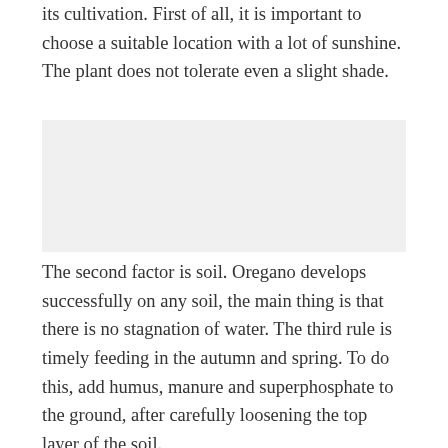its cultivation. First of all, it is important to choose a suitable location with a lot of sunshine. The plant does not tolerate even a slight shade.
[Figure (photo): Image placeholder area (photo of oregano or related plant cultivation scene)]
The second factor is soil. Oregano develops successfully on any soil, the main thing is that there is no stagnation of water. The third rule is timely feeding in the autumn and spring. To do this, add humus, manure and superphosphate to the ground, after carefully loosening the top layer of the soil.